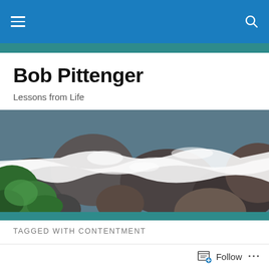Bob Pittenger — navigation bar
Bob Pittenger
Lessons from Life
[Figure (photo): A rushing mountain stream flowing over and around large grey rocks, with green foliage visible on the left side. White water rapids are prominent.]
TAGGED WITH CONTENTMENT
Unconditional Love
Follow